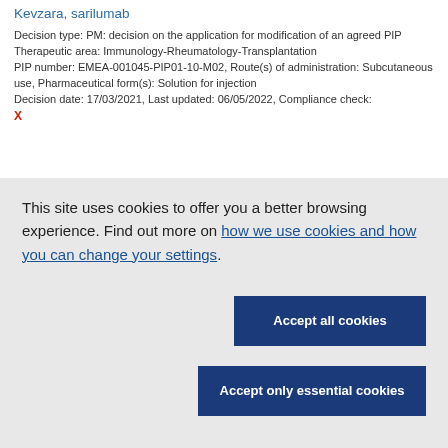Kevzara, sarilumab
Decision type: PM: decision on the application for modification of an agreed PIP
Therapeutic area: Immunology-Rheumatology-Transplantation
PIP number: EMEA-001045-PIP01-10-M02, Route(s) of administration: Subcutaneous use, Pharmaceutical form(s): Solution for injection
Decision date: 17/03/2021, Last updated: 06/05/2022, Compliance check: X
This site uses cookies to offer you a better browsing experience. Find out more on how we use cookies and how you can change your settings.
Accept all cookies
Accept only essential cookies